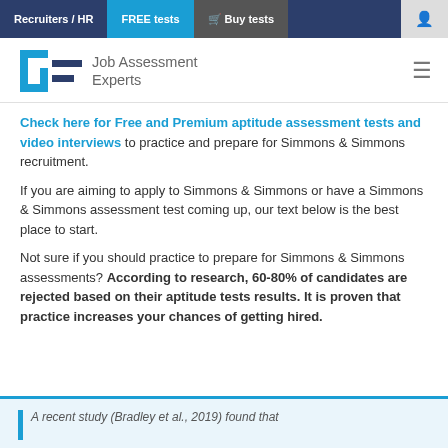Recruiters / HR | FREE tests | Buy tests | [user icon]
[Figure (logo): Job Assessment Experts logo with stylized GF icon in blue and dark colors, with hamburger menu icon on the right]
Check here for Free and Premium aptitude assessment tests and video interviews to practice and prepare for Simmons & Simmons recruitment.
If you are aiming to apply to Simmons & Simmons or have a Simmons & Simmons assessment test coming up, our text below is the best place to start.
Not sure if you should practice to prepare for Simmons & Simmons assessments? According to research, 60-80% of candidates are rejected based on their aptitude tests results. It is proven that practice increases your chances of getting hired.
A recent study (Bradley et al., 2019) found that